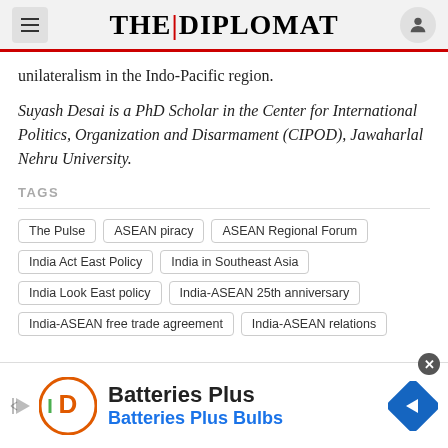THE DIPLOMAT
unilateralism in the Indo-Pacific region.
Suyash Desai is a PhD Scholar in the Center for International Politics, Organization and Disarmament (CIPOD), Jawaharlal Nehru University.
TAGS
The Pulse
ASEAN piracy
ASEAN Regional Forum
India Act East Policy
India in Southeast Asia
India Look East policy
India-ASEAN 25th anniversary
India-ASEAN free trade agreement
India-ASEAN relations
[Figure (infographic): Advertisement banner for Batteries Plus Bulbs with logo, text, and navigation arrow icon]